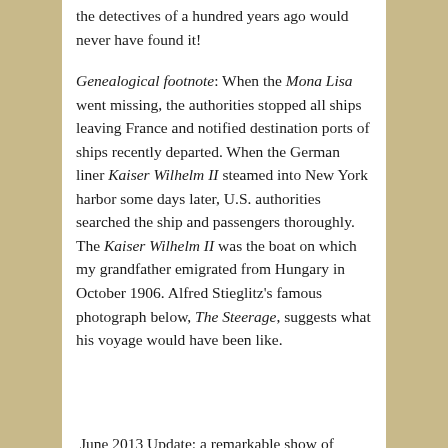the detectives of a hundred years ago would never have found it!
Genealogical footnote: When the Mona Lisa went missing, the authorities stopped all ships leaving France and notified destination ports of ships recently departed. When the German liner Kaiser Wilhelm II steamed into New York harbor some days later, U.S. authorities searched the ship and passengers thoroughly. The Kaiser Wilhelm II was the boat on which my grandfather emigrated from Hungary in October 1906. Alfred Stieglitz's famous photograph below, The Steerage, suggests what his voyage would have been like.
June 2013 Update: a remarkable show of drawings and prints by Henri Toulouse-Lautrec appears this summer at the Allentown Art Museum of the Lehigh Valley, and is one of the first museum's outside Europe to host this large collection. The show includes some recently found print of famous works that have retained their color, looking as